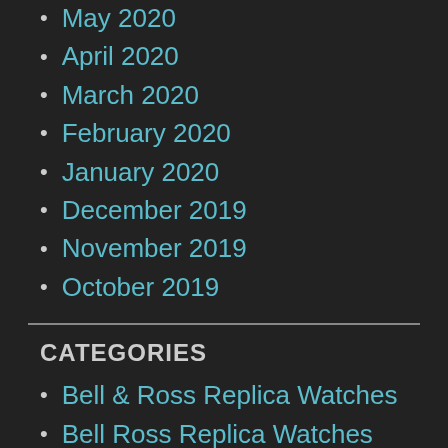May 2020
April 2020
March 2020
February 2020
January 2020
December 2019
November 2019
October 2019
CATEGORIES
Bell & Ross Replica Watches
Bell Ross Replica Watches
Best Audemars Piguet Replica